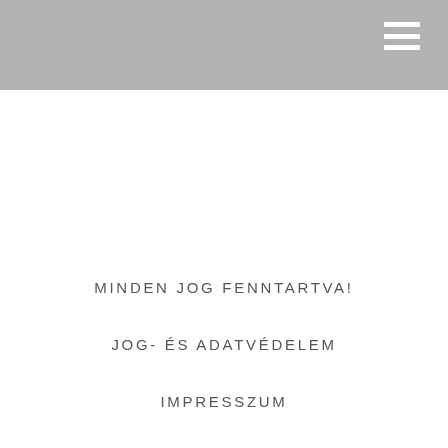Navigation header with hamburger menu
MINDEN JOG FENNTARTVA!
JOG- ÉS ADATVÉDELEM
IMPRESSZUM